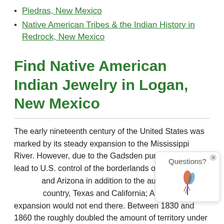Piedras, New Mexico
Native American Tribes & the Indian History in Redrock, New Mexico
Find Native American Indian Jewelry in Logan, New Mexico
The early nineteenth century of the United States was marked by its steady expansion to the Mississippi River. However, due to the Gadsden purchase, that lead to U.S. control of the borderlands of southern New Mexico and Arizona in addition to the authority over Oregon country, Texas and California; America's expansion would not end there. Between 1830 and 1860 the roughly doubled the amount of territory under its control.